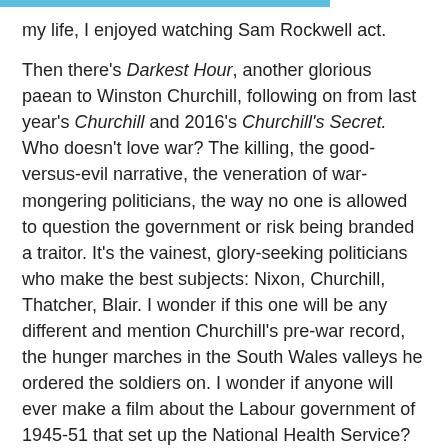my life, I enjoyed watching Sam Rockwell act.
Then there's Darkest Hour, another glorious paean to Winston Churchill, following on from last year's Churchill and 2016's Churchill's Secret. Who doesn't love war? The killing, the good-versus-evil narrative, the veneration of war-mongering politicians, the way no one is allowed to question the government or risk being branded a traitor. It's the vainest, glory-seeking politicians who make the best subjects: Nixon, Churchill, Thatcher, Blair. I wonder if this one will be any different and mention Churchill's pre-war record, the hunger marches in the South Wales valleys he ordered the soldiers on. I wonder if anyone will ever make a film about the Labour government of 1945-51 that set up the National Health Service? Now more than ever, we need that kind of film.
I never did watch Star Wars: The Last Jedi over Christmas a second time, for complicated reasons. Now, I feel less inclined. I remember the special effects and Mark Hamill's performance, with Ridley's Rey and Driver's Kylo Ren also not far behind. But everything else? Entertaining in a different way is this Youtube video of Everything Wrong with Last Jedi: https://www.youtube.com/watch?v=1v2PV52WNLY. Certainly